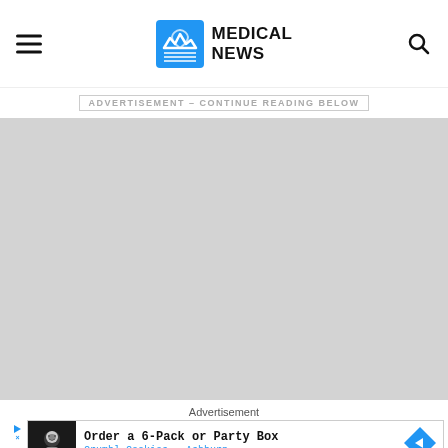MEDICAL NEWS
ADVERTISEMENT - CONTINUE READING BELOW
[Figure (other): Grey advertisement placeholder block]
Advertisement
[Figure (other): Crumbl Cookies ad banner: Order a 6-Pack or Party Box, Crumbl Cookies - Ashburn]